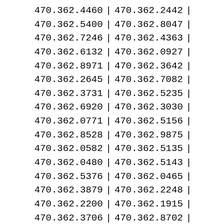| 470.362.4460 | | | 470.362.2442 | | |
| 470.362.5400 | | | 470.362.8047 | | |
| 470.362.7246 | | | 470.362.4363 | | |
| 470.362.6132 | | | 470.362.0927 | | |
| 470.362.8971 | | | 470.362.3642 | | |
| 470.362.2645 | | | 470.362.7082 | | |
| 470.362.3731 | | | 470.362.5235 | | |
| 470.362.6920 | | | 470.362.3030 | | |
| 470.362.0771 | | | 470.362.5156 | | |
| 470.362.8528 | | | 470.362.9875 | | |
| 470.362.0582 | | | 470.362.5135 | | |
| 470.362.0480 | | | 470.362.5143 | | |
| 470.362.5376 | | | 470.362.0465 | | |
| 470.362.3879 | | | 470.362.2248 | | |
| 470.362.2200 | | | 470.362.1915 | | |
| 470.362.3706 | | | 470.362.8702 | | |
| 470.362.0854 | | | 470.362.6139 | | |
| 470.362.6242 | | | 470.362.0729 | | |